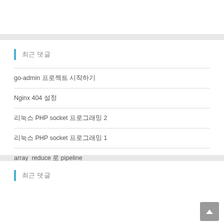최근 댓글
go-admin 프로젝트 시작하기
Nginx 404 설정
리눅스 PHP socket 프로그래밍 2
리눅스 PHP socket 프로그래밍 1
array_reduce 로 pipeline
최근 댓글